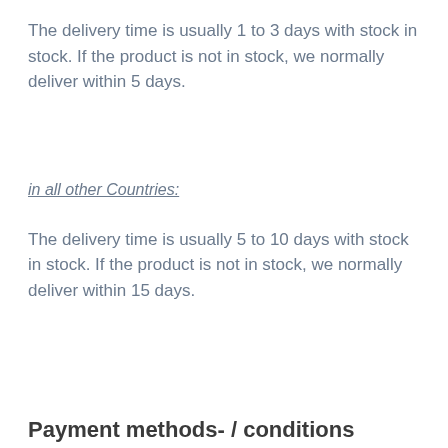The delivery time is usually 1 to 3 days with stock in stock. If the product is not in stock, we normally deliver within 5 days.
in all other Countries:
The delivery time is usually 5 to 10 days with stock in stock. If the product is not in stock, we normally deliver within 15 days.
Payment methods- / conditions
We offer the following payment methods. Just choose by and the payment method from us. The